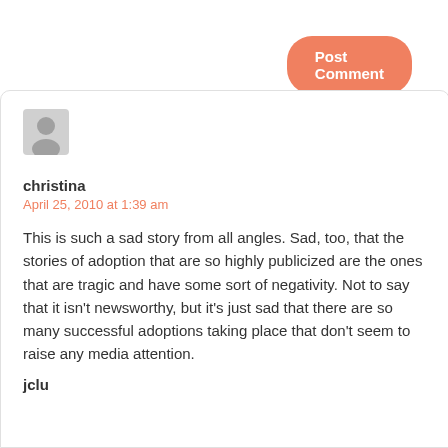Post Comment
[Figure (illustration): Generic user avatar icon — gray silhouette of a person on a light gray circle background]
christina
April 25, 2010 at 1:39 am
This is such a sad story from all angles. Sad, too, that the stories of adoption that are so highly publicized are the ones that are tragic and have some sort of negativity. Not to say that it isn't newsworthy, but it's just sad that there are so many successful adoptions taking place that don't seem to raise any media attention.
jclu